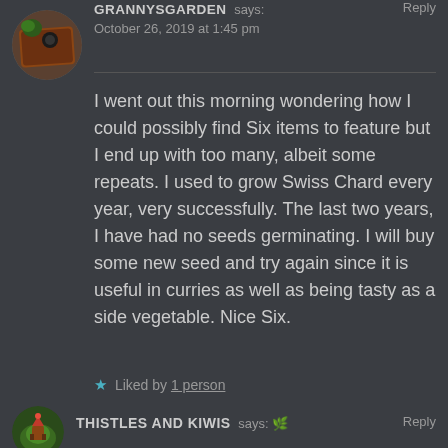[Figure (photo): Circular avatar photo showing a garden scene with a wooden planter box]
GRANNYSGARDEN says: Reply
October 26, 2019 at 1:45 pm
I went out this morning wondering how I could possibly find Six items to feature but I end up with too many, albeit some repeats. I used to grow Swiss Chard every year, very successfully. The last two years, I have had no seeds germinating. I will buy some new seed and try again since it is useful in curries as well as being tasty as a side vegetable. Nice Six.
★ Liked by 1 person
[Figure (photo): Circular avatar photo showing a garden cottage scene]
THISTLES AND KIWIS says: Reply